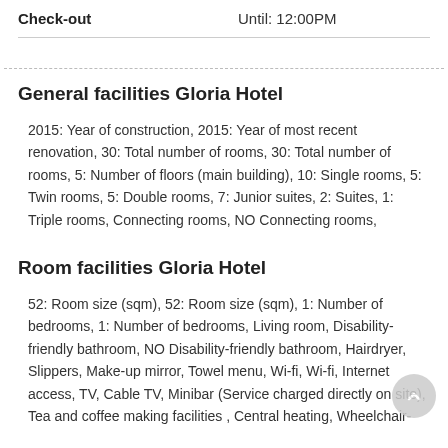Check-out   Until: 12:00PM
General facilities Gloria Hotel
2015: Year of construction, 2015: Year of most recent renovation, 30: Total number of rooms, 30: Total number of rooms, 5: Number of floors (main building), 10: Single rooms, 5: Twin rooms, 5: Double rooms, 7: Junior suites, 2: Suites, 1: Triple rooms, Connecting rooms, NO Connecting rooms,
Room facilities Gloria Hotel
52: Room size (sqm), 52: Room size (sqm), 1: Number of bedrooms, 1: Number of bedrooms, Living room, Disability-friendly bathroom, NO Disability-friendly bathroom, Hairdryer, Slippers, Make-up mirror, Towel menu, Wi-fi, Wi-fi, Internet access, TV, Cable TV, Minibar (Service charged directly on site), Tea and coffee making facilities , Central heating, Wheelchair-